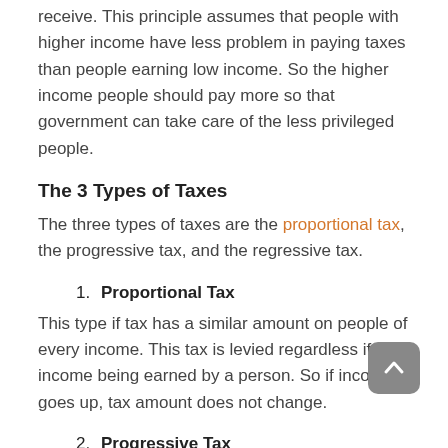receive. This principle assumes that people with higher income have less problem in paying taxes than people earning low income. So the higher income people should pay more so that government can take care of the less privileged people.
The 3 Types of Taxes
The three types of taxes are the proportional tax, the progressive tax, and the regressive tax.
1. Proportional Tax
This type if tax has a similar amount on people of every income. This tax is levied regardless if income being earned by a person. So if income goes up, tax amount does not change.
2. Progressive Tax
This type has the advantage of taxes...